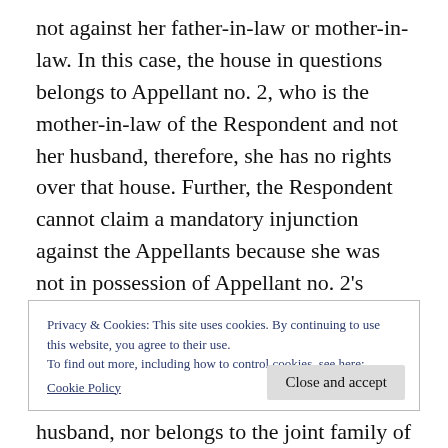not against her father-in-law or mother-in-law. In this case, the house in questions belongs to Appellant no. 2, who is the mother-in-law of the Respondent and not her husband, therefore, she has no rights over that house. Further, the Respondent cannot claim a mandatory injunction against the Appellants because she was not in possession of Appellant no. 2's house as she moved to her parents' house.Appellant no. 2's house cannot be a (shared household) of the Respondent
Privacy & Cookies: This site uses cookies. By continuing to use this website, you agree to their use.
To find out more, including how to control cookies, see here:
Cookie Policy
husband, nor belongs to the joint family of